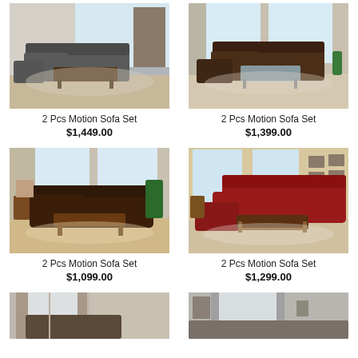[Figure (photo): Gray motion sofa set in a living room with recliner chairs and wooden coffee table]
2 Pcs Motion Sofa Set
$1,449.00
[Figure (photo): Brown motion sofa set in a living room with recliner and glass coffee table]
2 Pcs Motion Sofa Set
$1,399.00
[Figure (photo): Dark brown motion sofa set in a living room with wooden coffee table]
2 Pcs Motion Sofa Set
$1,099.00
[Figure (photo): Red leather motion sofa set in a living room with wooden coffee table]
2 Pcs Motion Sofa Set
$1,299.00
[Figure (photo): Partial view of a sofa set in a living room - bottom left]
[Figure (photo): Partial view of a sofa set in a living room - bottom right]